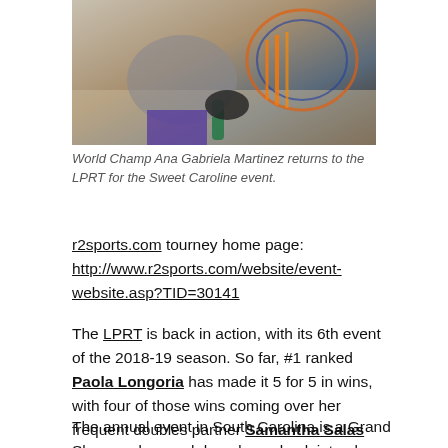[Figure (photo): A racquetball player (woman) holding a racquet, wearing black gloves and purple/blue outfit, lying or crouching on a court floor. The image is cropped showing upper body and racquet.]
World Champ Ana Gabriela Martinez returns to the LPRT for the Sweet Caroline event.
r2sports.com tourney home page: http://www.r2sports.com/website/event-website.asp?TID=30141
The LPRT is back in action, with its 6th event of the 2018-19 season. So far, #1 ranked Paola Longoria has made it 5 for 5 in wins, with four of those wins coming over her frequent doubles partner Samantha Salas Solis.
The annual event in South Carolina is a Grand Slam, and as such has drawn back into play a couple of intriguing